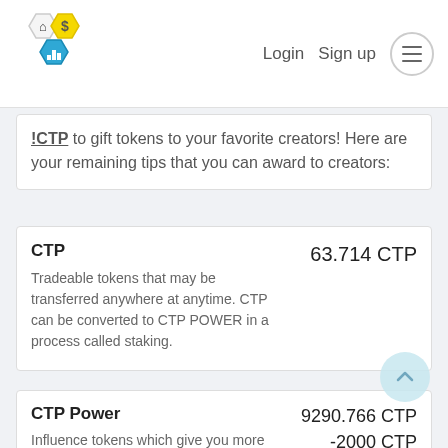[Figure (logo): CTP platform logo with three hexagonal icons (cursor, dollar sign, bar chart) in blue, yellow, and teal]
Login   Sign up
!CTP to gift tokens to your favorite creators! Here are your remaining tips that you can award to creators:
CTP
63.714 CTP
Tradeable tokens that may be transferred anywhere at anytime. CTP can be converted to CTP POWER in a process called staking.
CTP Power
9290.766 CTP
-2000 CTP
Influence tokens which give you more control over post payouts.